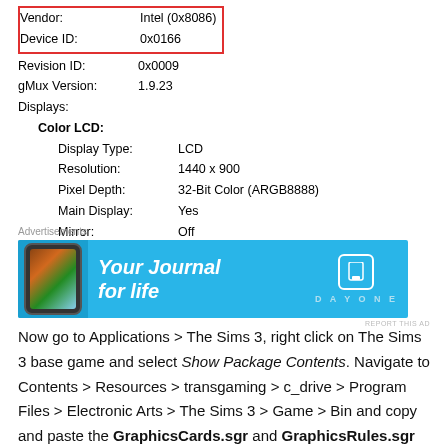| Property | Value |
| --- | --- |
| Vendor: | Intel (0x8086) |
| Device ID: | 0x0166 |
| Revision ID: | 0x0009 |
| gMux Version: | 1.9.23 |
| Displays: |  |
| Color LCD: |  |
| Display Type: | LCD |
| Resolution: | 1440 x 900 |
| Pixel Depth: | 32-Bit Color (ARGB8888) |
| Main Display: | Yes |
| Mirror: | Off |
| Online: | Yes |
| Built-In: | Yes |
[Figure (screenshot): Advertisement banner for Day One journal app with blue background, phone image on left, italic text 'Your Journal for life' and Day One logo on right]
Now go to Applications > The Sims 3, right click on The Sims 3 base game and select Show Package Contents. Navigate to Contents > Resources > transgaming > c_drive > Program Files > Electronic Arts > The Sims 3 > Game > Bin and copy and paste the GraphicsCards.sgr and GraphicsRules.sgr files onto your desktop. This is a backup in case the files get